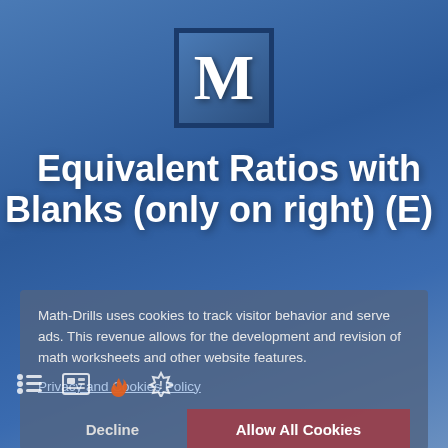[Figure (logo): Math-Drills logo: bold letter M in white inside a dark-bordered square box with blue gradient background]
Equivalent Ratios with Blanks (only on right) (E)
Math-Drills uses cookies to track visitor behavior and serve ads. This revenue allows for the development and revision of math worksheets and other website features.
Privacy and Cookies Policy
Decline
Allow All Cookies